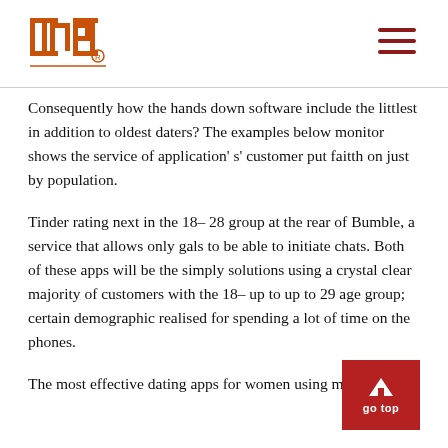INP logo and navigation
Consequently how the hands down software include the littlest in addition to oldest daters? The examples below monitor shows the service of application' s' customer put faitth on just by population.
Tinder rating next in the 18– 28 group at the rear of Bumble, a service that allows only gals to be able to initiate chats. Both of these apps will be the simply solutions using a crystal clear majority of customers with the 18– up to up to 29 age group; certain demographic realised for spending a lot of time on the phones.
The most effective dating apps for women using m…